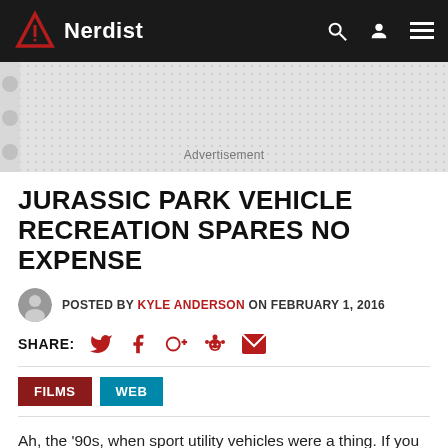Nerdist
[Figure (screenshot): Advertisement banner with dotted gray background]
Advertisement
JURASSIC PARK VEHICLE RECREATION SPARES NO EXPENSE
POSTED BY KYLE ANDERSON ON FEBRUARY 1, 2016
SHARE: [Twitter] [Facebook] [Google+] [Reddit] [Email]
FILMS
WEB
Ah, the ‘90s, when sport utility vehicles were a thing. If you were anywhere with snow (and even lots of places without), the SUV was a staple vehicle, and perhaps none were stapler